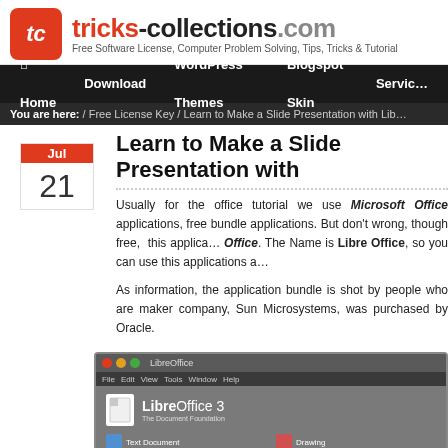tricks-collections.com — Free Software License, Computer Problem Solving, Tips, Tricks & Tutorial
Home | Download | WordPress Themes | Blogspot Skin | Service
You are here: / Free License Key / Learn to Make a Slide Presentation with Lib...
Learn to Make a Slide Presentation with Libre Office
Usually for the office tutorial we use Microsoft Office applications, free bundle applications. But don't wrong, though free, this application has a full features like Microsoft Office. The Name is Libre Office, so you can use this applications a...
As information, the application bundle is shot by people who are maker company, Sun Microsystems, was purchased by Oracle.
[Figure (screenshot): LibreOffice 3 application launcher window showing The Document Foundation branding and app icons for Text Document, Drawing, Spreadsheet, and Database]